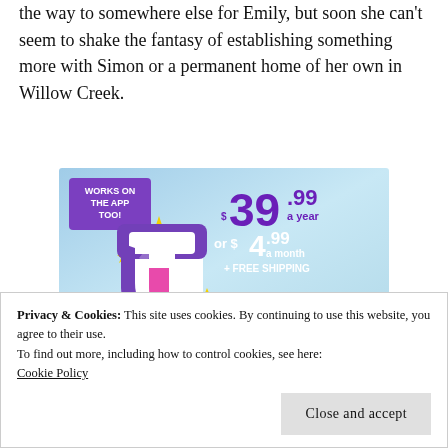the way to somewhere else for Emily, but soon she can't seem to shake the fantasy of establishing something more with Simon or a permanent home of her own in Willow Creek.
[Figure (illustration): Advertisement for Tumblr showing a stylized letter T logo in purple, white and pink with sparkle stars on a light blue sky background. Text reads: WORKS ON THE APP TOO! $39.99 a year or $4.99 a month + FREE SHIPPING]
Privacy & Cookies: This site uses cookies. By continuing to use this website, you agree to their use.
To find out more, including how to control cookies, see here:
Cookie Policy
Close and accept